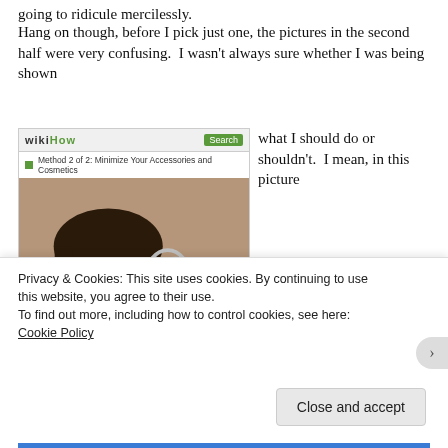going to ridicule mercilessly.
Hang on though, before I pick just one, the pictures in the second half were very confusing.  I wasn't always sure whether I was being shown
[Figure (screenshot): WikiHow screenshot showing 'Method 2 of 2: Minimize Your Accessories and Cosmetics' with a photo of a woman holding large hoop earrings]
what I should do or shouldn't.  I mean, in this picture
Privacy & Cookies: This site uses cookies. By continuing to use this website, you agree to their use.
To find out more, including how to control cookies, see here:
Cookie Policy
Close and accept